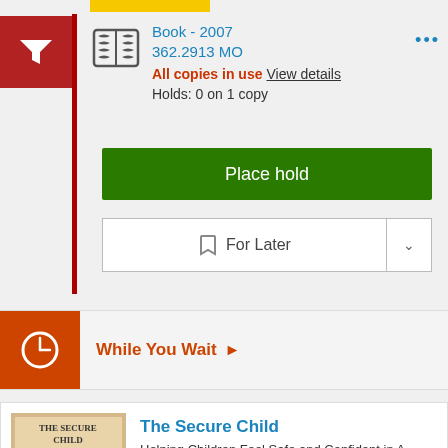Book - 2007
362.2913 MO
All copies in use  View details
Holds: 0 on 1 copy
Place hold
For Later
While You Wait
The Secure Child
Helping Children Feel Safe and Confident in A Changing World
by Greenspan, Stanley I.